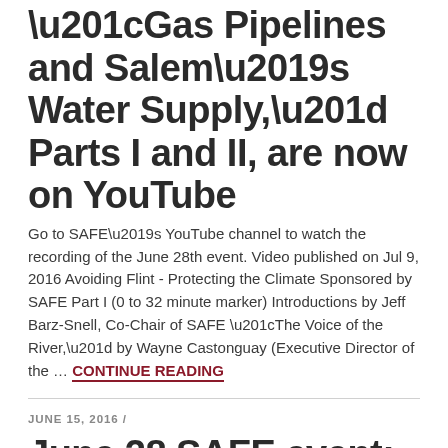“Gas Pipelines and Salem’s Water Supply,” Parts I and II, are now on YouTube
Go to SAFE’s YouTube channel to watch the recording of the June 28th event. Video published on Jul 9, 2016 Avoiding Flint - Protecting the Climate Sponsored by SAFE Part I (0 to 32 minute marker) Introductions by Jeff Barz-Snell, Co-Chair of SAFE “The Voice of the River,” by Wayne Castonguay (Executive Director of the … CONTINUE READING
JUNE 15, 2016 /
June 28 SAFE event: